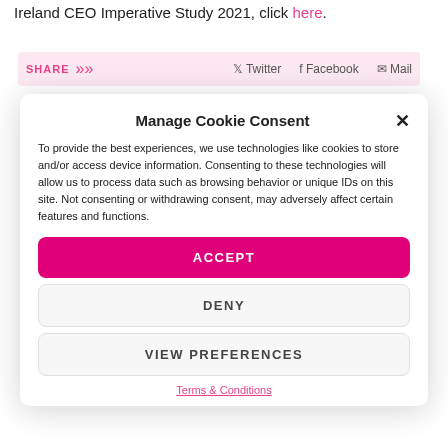Ireland CEO Imperative Study 2021, click here.
SHARE  Twitter  Facebook  Mail
Manage Cookie Consent
To provide the best experiences, we use technologies like cookies to store and/or access device information. Consenting to these technologies will allow us to process data such as browsing behavior or unique IDs on this site. Not consenting or withdrawing consent, may adversely affect certain features and functions.
ACCEPT
DENY
VIEW PREFERENCES
Terms & Conditions